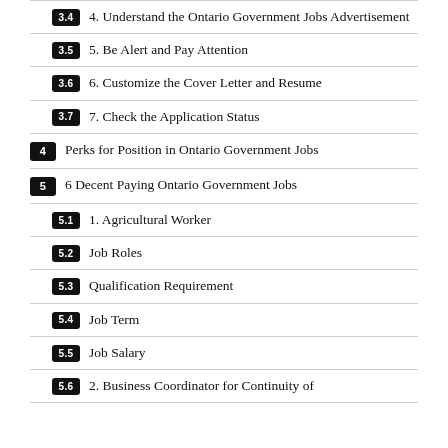3.4  4. Understand the Ontario Government Jobs Advertisement
3.5  5. Be Alert and Pay Attention
3.6  6. Customize the Cover Letter and Resume
3.7  7. Check the Application Status
4  Perks for Position in Ontario Government Jobs
5  6 Decent Paying Ontario Government Jobs
5.1  1. Agricultural Worker
5.2  Job Roles
5.3  Qualification Requirement
5.4  Job Term
5.5  Job Salary
5.6  2. Business Coordinator for Continuity of